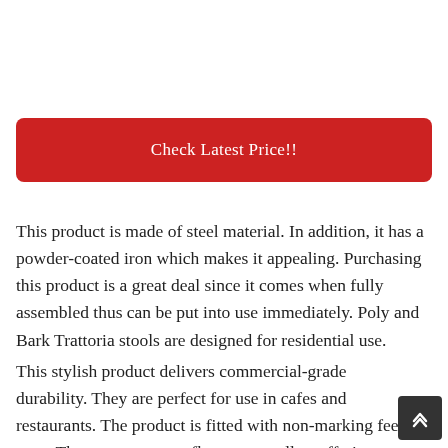[Figure (other): Red button with white text reading 'Check Latest Price!!']
This product is made of steel material. In addition, it has a powder-coated iron which makes it appealing. Purchasing this product is a great deal since it comes when fully assembled thus can be put into use immediately. Poly and Bark Trattoria stools are designed for residential use.
This stylish product delivers commercial-grade durability. They are perfect for use in cafes and restaurants. The product is fitted with non-marking feet caps. These protect your floors as well as offering more stability.